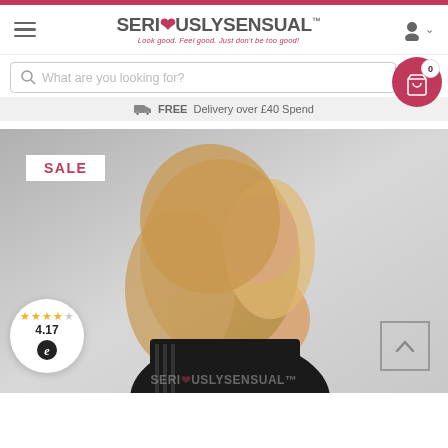[Figure (screenshot): Seriously Sensual website header with hamburger menu, logo, and user icon]
What are you looking for?
FREE Delivery over £40 Spend
[Figure (photo): Woman wearing black strapless corset, viewed from behind with long blonde wavy hair, with SALE badge overlay, rating 4.17 stars, and scroll-up button]
SALE
4.17
SERIOUSLYSENSUAL™